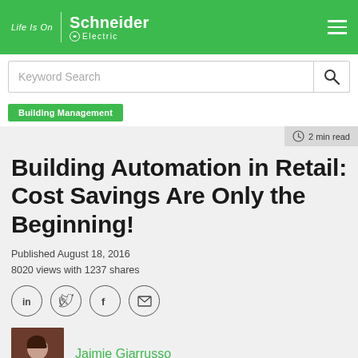[Figure (logo): Schneider Electric 'Life Is On' logo in white on green navigation bar with hamburger menu]
Keyword Search
Building Management
2 min read
Building Automation in Retail: Cost Savings Are Only the Beginning!
Published August 18, 2016
8020 views with 1237 shares
[Figure (illustration): Social sharing icons: LinkedIn, Twitter, Facebook, Email]
[Figure (photo): Author photo of Jaimie Giarrusso]
Jaimie Giarrusso
Building Automation in Retail: Cost